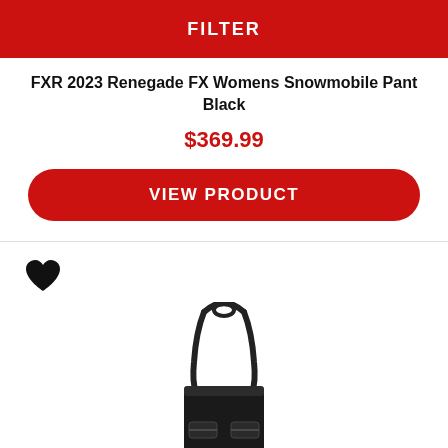FILTER
FXR 2023 Renegade FX Womens Snowmobile Pant Black
$369.99
VIEW PRODUCT
[Figure (illustration): Heart/favorite icon (black filled heart shape)]
[Figure (photo): Black snowmobile bib pants shown from the top, with suspenders/straps visible, product displayed on white background]